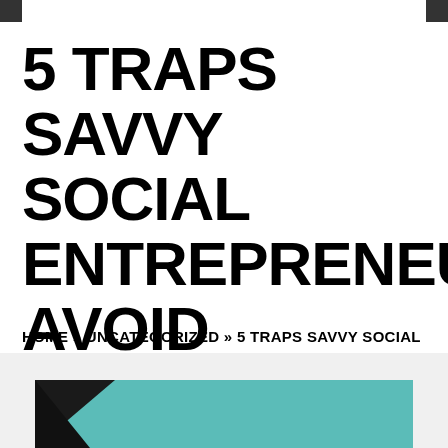5 TRAPS SAVVY SOCIAL ENTREPRENEURS AVOID
HOME » UNCATEGORIZED » 5 TRAPS SAVVY SOCIAL ENTREPRENEURS AVOID
[Figure (photo): Partial view of an image with teal/dark geometric design at bottom of page]